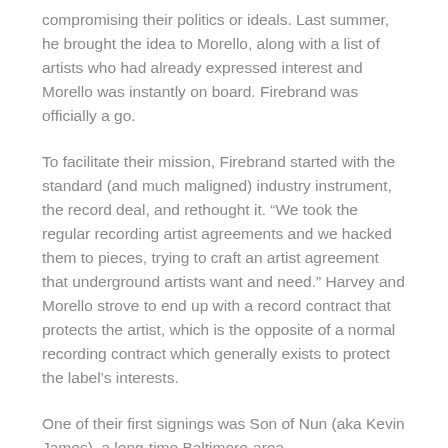compromising their politics or ideals. Last summer, he brought the idea to Morello, along with a list of artists who had already expressed interest and Morello was instantly on board. Firebrand was officially a go.
To facilitate their mission, Firebrand started with the standard (and much maligned) industry instrument, the record deal, and rethought it. “We took the regular recording artist agreements and we hacked them to pieces, trying to craft an artist agreement that underground artists want and need.” Harvey and Morello strove to end up with a record contract that protects the artist, which is the opposite of a normal recording contract which generally exists to protect the label’s interests.
One of their first signings was Son of Nun (aka Kevin James), a long-time Baltimore-area